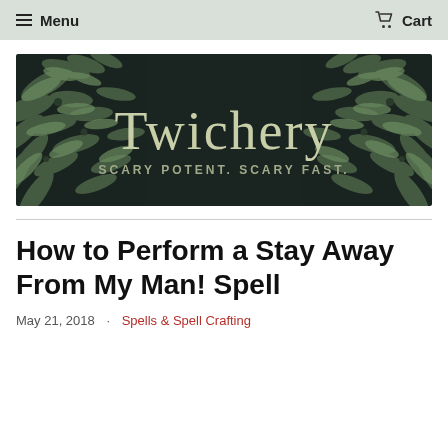Menu   Cart
[Figure (illustration): Twichery brand banner: dark background with illustrated olive/leaf branches framing the word 'Twichery' in large serif font, with tagline 'SCARY POTENT. SCARY FAST.' below]
How to Perform a Stay Away From My Man! Spell
May 21, 2018  ·  Spells & Spell Crafting